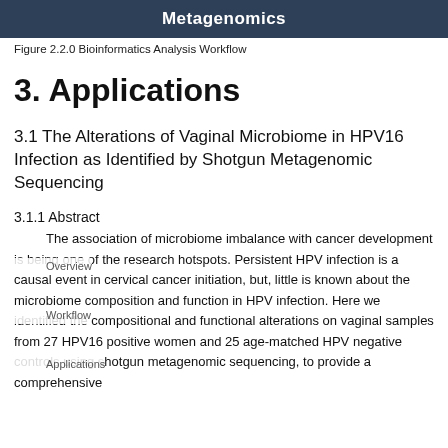Metagenomics
Figure 2.2.0 Bioinformatics Analysis Workflow
3. Applications
3.1 The Alterations of Vaginal Microbiome in HPV16 Infection as Identified by Shotgun Metagenomic Sequencing
3.1.1 Abstract
The association of microbiome imbalance with cancer development is being one of the research hotspots. Persistent HPV infection is a causal event in cervical cancer initiation, but, little is known about the microbiome composition and function in HPV infection. Here we identified the compositional and functional alterations on vaginal samples from 27 HPV16 positive women and 25 age-matched HPV negative controls using shotgun metagenomic sequencing, to provide a comprehensive